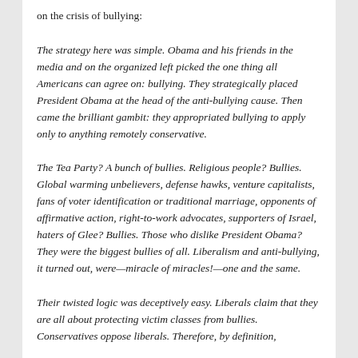on the crisis of bullying:
The strategy here was simple. Obama and his friends in the media and on the organized left picked the one thing all Americans can agree on: bullying. They strategically placed President Obama at the head of the anti-bullying cause. Then came the brilliant gambit: they appropriated bullying to apply only to anything remotely conservative.
The Tea Party? A bunch of bullies. Religious people? Bullies. Global warming unbelievers, defense hawks, venture capitalists, fans of voter identification or traditional marriage, opponents of affirmative action, right-to-work advocates, supporters of Israel, haters of Glee? Bullies. Those who dislike President Obama? They were the biggest bullies of all. Liberalism and anti-bullying, it turned out, were—miracle of miracles!—one and the same.
Their twisted logic was deceptively easy. Liberals claim that they are all about protecting victim classes from bullies. Conservatives oppose liberals. Therefore, by definition,